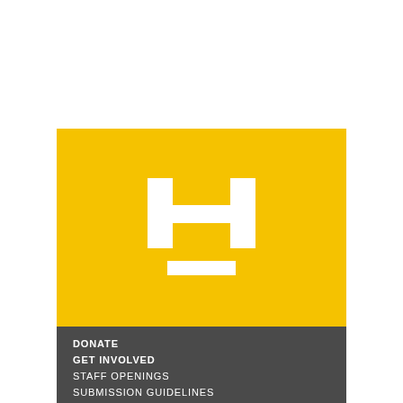[Figure (logo): Yellow rectangle block containing a large white stylized H logo with a white horizontal bar beneath it]
DONATE
GET INVOLVED
STAFF OPENINGS
SUBMISSION GUIDELINES
ABOUT